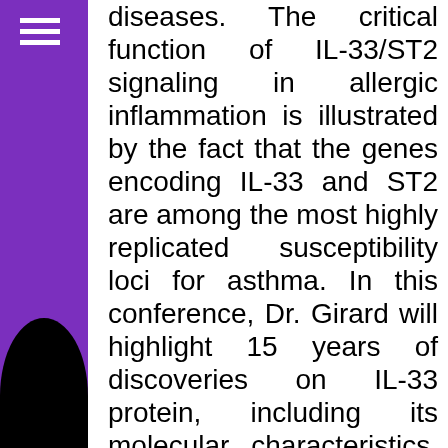diseases. The critical function of IL-33/ST2 signaling in allergic inflammation is illustrated by the fact that the genes encoding IL-33 and ST2 are among the most highly replicated susceptibility loci for asthma. In this conference, Dr. Girard will highlight 15 years of discoveries on IL-33 protein, including its molecular characteristics, bioactive forms, cellular sources